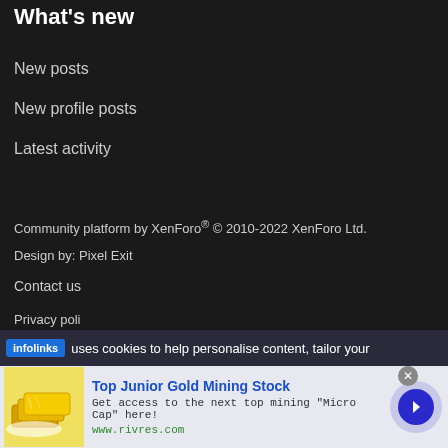What's new
New posts
New profile posts
Latest activity
Community platform by XenForo® © 2010-2022 XenForo Ltd.
Design by: Pixel Exit
Contact us
Privacy poli...
infolinks uses cookies to help personalise content, tailor your
[Figure (infographic): Advertisement banner: Top Junior Gold Mining Stock - Get access to the next top mining 'Micro Cap' here! www.rivres.com, with gold bars image and blue arrow button]